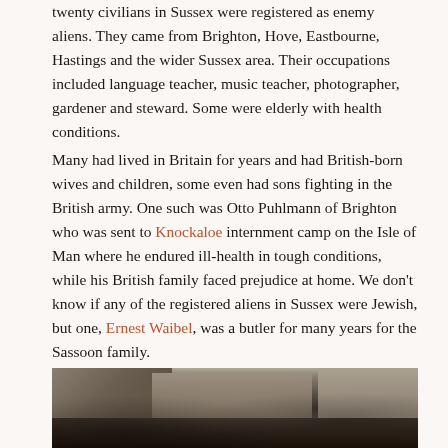twenty civilians in Sussex were registered as enemy aliens. They came from Brighton, Hove, Eastbourne, Hastings and the wider Sussex area. Their occupations included language teacher, music teacher, photographer, gardener and steward. Some were elderly with health conditions.
Many had lived in Britain for years and had British-born wives and children, some even had sons fighting in the British army. One such was Otto Puhlmann of Brighton who was sent to Knockaloe internment camp on the Isle of Man where he endured ill-health in tough conditions, while his British family faced prejudice at home. We don't know if any of the registered aliens in Sussex were Jewish, but one, Ernest Waibel, was a butler for many years for the Sassoon family.
[Figure (photo): Black and white historical photograph showing a street scene with buildings and people]